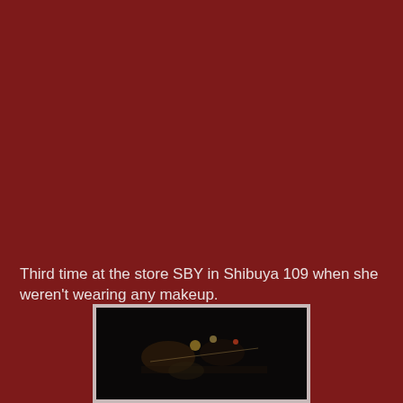Third time at the store SBY in Shibuya 109 when she weren't wearing any makeup.
[Figure (photo): A dark photograph, partially visible at the bottom of the page, showing what appears to be a dimly lit scene with some light reflections, framed with a light-colored border.]